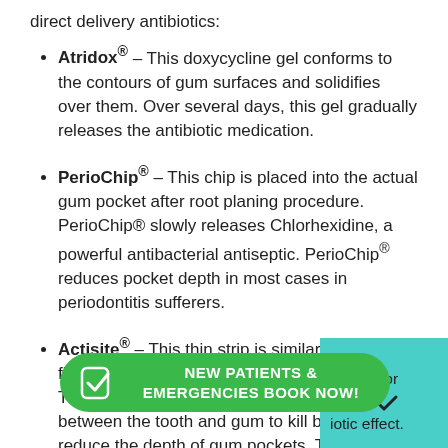direct delivery antibiotics:
Atridox® – This doxycycline gel conforms to the contours of gum surfaces and solidifies over them. Over several days, this gel gradually releases the antibiotic medication.
PerioChip® – This chip is placed into the actual gum pocket after root planing procedure. PerioChip® slowly releases Chlorhexidine, a powerful antibacterial antiseptic. PerioChip® reduces pocket depth in most cases in periodontitis sufferers.
Actisite® – This thin strip is similar to dental floss and contains tetracycline hydrochloride. The thread is place temporarily directly between the tooth and gum to kill bacteria and reduce the depth of gum pockets. The strip is sometimes placed for around 10 days to enhance the antibiotic effect.